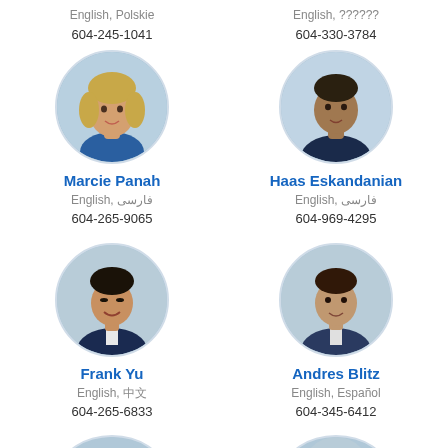English, Polskie
604-245-1041
English, ??????
604-330-3784
[Figure (photo): Circular headshot of Marcie Panah, a woman with blonde hair]
Marcie Panah
English, فارسی
604-265-9065
[Figure (photo): Circular headshot of Haas Eskandanian, a man in dark shirt]
Haas Eskandanian
English, فارسی
604-969-4295
[Figure (photo): Circular headshot of Frank Yu, an Asian man in suit]
Frank Yu
English, 中文
604-265-6833
[Figure (photo): Circular headshot of Andres Blitz, a man in suit]
Andres Blitz
English, Español
604-345-6412
[Figure (photo): Circular headshot of an Asian man, partially cropped at bottom]
[Figure (photo): Circular headshot of an older white-haired man, partially cropped at bottom]